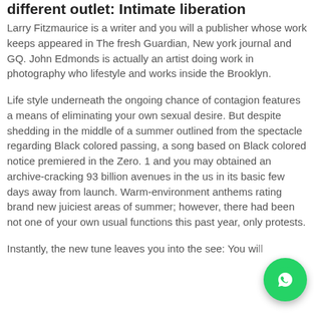different outlet: Intimate liberation
Larry Fitzmaurice is a writer and you will a publisher whose work keeps appeared in The fresh Guardian, New york journal and GQ. John Edmonds is actually an artist doing work in photography who lifestyle and works inside the Brooklyn.
Life style underneath the ongoing chance of contagion features a means of eliminating your own sexual desire. But despite shedding in the middle of a summer outlined from the spectacle regarding Black colored passing, a song based on Black colored notice premiered in the Zero. 1 and you may obtained an archive-cracking 93 billion avenues in the us in its basic few days away from launch. Warm-environment anthems rating brand new juiciest areas of summer; however, there had been not one of your own usual functions this past year, only protests.
Instantly, the new tune leaves you into the see: You will